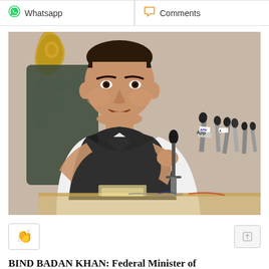Whatsapp   Comments
[Figure (photo): A man in a white shalwar kameez and black waistcoat sitting at a press conference, speaking into microphones. Multiple media microphones visible. Ornate gold chair visible in background.]
👏
BIND BADAN KHAN: Federal Minister of...